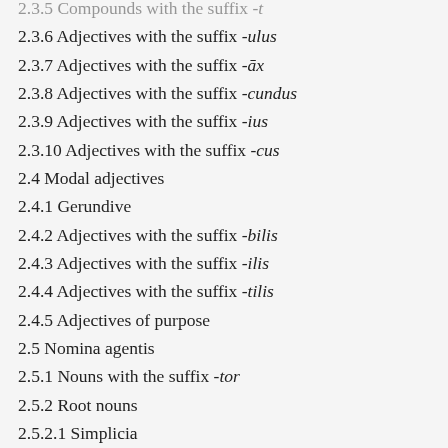2.3.6 Adjectives with the suffix -ulus
2.3.7 Adjectives with the suffix -āx
2.3.8 Adjectives with the suffix -cundus
2.3.9 Adjectives with the suffix -ius
2.3.10 Adjectives with the suffix -cus
2.4 Modal adjectives
2.4.1 Gerundive
2.4.2 Adjectives with the suffix -bilis
2.4.3 Adjectives with the suffix -ilis
2.4.4 Adjectives with the suffix -tilis
2.4.5 Adjectives of purpose
2.5 Nomina agentis
2.5.1 Nouns with the suffix -tor
2.5.2 Root nouns
2.5.2.1 Simplicia
2.5.2.2 Compounds